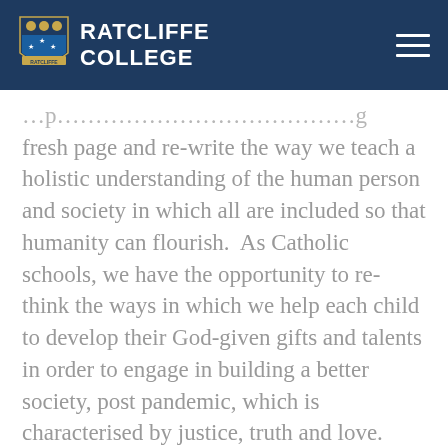RATCLIFFE COLLEGE
fresh page and re-write the way we teach a holistic understanding of the human person and society in which all are included so that humanity can flourish.  As Catholic schools, we have the opportunity to re-think the ways in which we help each child to develop their God-given gifts and talents in order to engage in building a better society, post pandemic, which is characterised by justice, truth and love.  And so, as we enter the next phase of the pandemic, remember to make time to re-evaluate how your school lives out it's Mission and how best to keep the Faith.